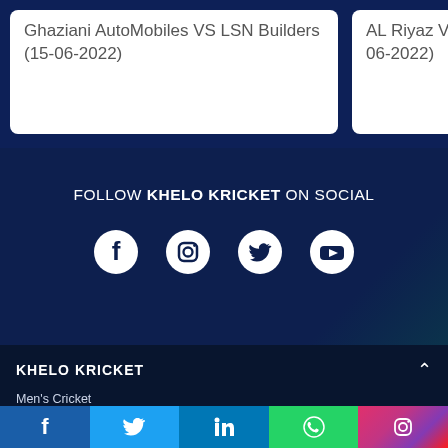Ghaziani AutoMobiles VS LSN Builders (15-06-2022)
AL Riyaz V... 06-2022)
FOLLOW KHELO KRICKET ON SOCIAL
[Figure (illustration): Social media icons: Facebook, Instagram, Twitter, YouTube — white on dark navy background]
KHELO KRICKET
Men's Cricket
Women's Cricket
Tournament
Teams
[Figure (illustration): Share bar at bottom: Facebook, Twitter, LinkedIn, WhatsApp, Instagram social share buttons]